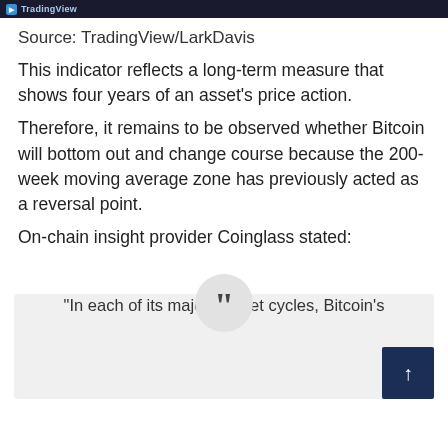[Figure (screenshot): TradingView logo bar at top of page, dark navy background with TradingView branding]
Source: TradingView/LarkDavis
This indicator reflects a long-term measure that shows four years of an asset's price action.
Therefore, it remains to be observed whether Bitcoin will bottom out and change course because the 200-week moving average zone has previously acted as a reversal point.
On-chain insight provider Coinglass stated:
“In each of its major market cycles, Bitcoin’s